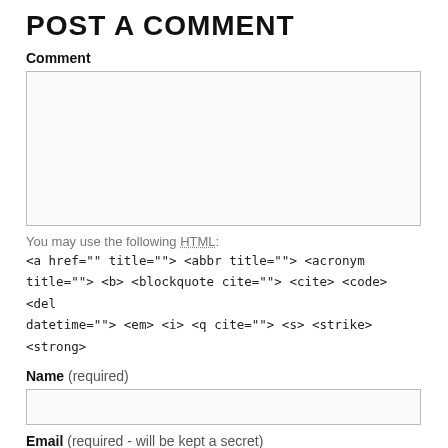POST A COMMENT
Comment
You may use the following HTML:
<a href="" title=""> <abbr title=""> <acronym title=""> <b> <blockquote cite=""> <cite> <code> <del datetime=""> <em> <i> <q cite=""> <s> <strike> <strong>
Name (required)
Email (required - will be kept a secret)